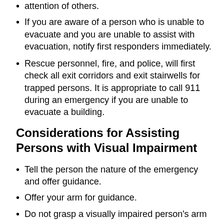attention of others.
If you are aware of a person who is unable to evacuate and you are unable to assist with evacuation, notify first responders immediately.
Rescue personnel, fire, and police, will first check all exit corridors and exit stairwells for trapped persons. It is appropriate to call 911 during an emergency if you are unable to evacuate a building.
Considerations for Assisting Persons with Visual Impairment
Tell the person the nature of the emergency and offer guidance.
Offer your arm for guidance.
Do not grasp a visually impaired person's arm